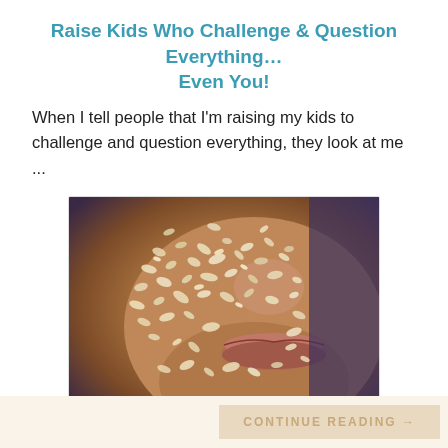Raise Kids Who Challenge & Question Everything… Even You!
When I tell people that I'm raising my kids to challenge and question everything, they look at me ...
[Figure (photo): Close-up photo of a person's lower face covered in an oatmeal or grain-based face mask/scrub. The skin is covered with flaky, beige-colored particles. Lips are visible and slightly parted. Advertisement for South Beach Skin Lab.]
Plastic Surgeon Says: This Kills Wrinkles, Do It at Home
Sponsored by SouthBeachSkinLab